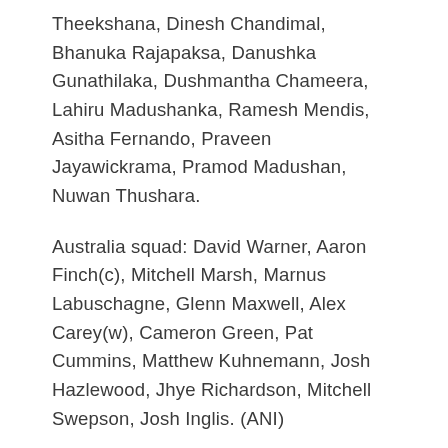Theekshana, Dinesh Chandimal, Bhanuka Rajapaksa, Danushka Gunathilaka, Dushmantha Chameera, Lahiru Madushanka, Ramesh Mendis, Asitha Fernando, Praveen Jayawickrama, Pramod Madushan, Nuwan Thushara.
Australia squad: David Warner, Aaron Finch(c), Mitchell Marsh, Marnus Labuschagne, Glenn Maxwell, Alex Carey(w), Cameron Green, Pat Cummins, Matthew Kuhnemann, Josh Hazlewood, Jhye Richardson, Mitchell Swepson, Josh Inglis. (ANI)